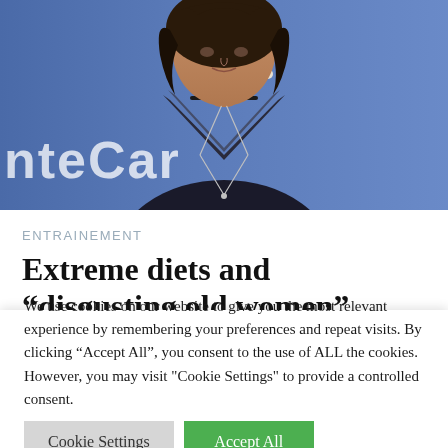[Figure (photo): A woman at what appears to be the Monte Carlo event/venue, wearing a black dress with a sheer neckline and long silver necklace, dark hair down, in front of a blue backdrop with 'nteCar' text visible]
ENTRAINEMENT
Extreme diets and “disgusting old women”, Karine Le
We use cookies on our website to give you the most relevant experience by remembering your preferences and repeat visits. By clicking “Accept All”, you consent to the use of ALL the cookies. However, you may visit "Cookie Settings" to provide a controlled consent.
Cookie Settings | Accept All